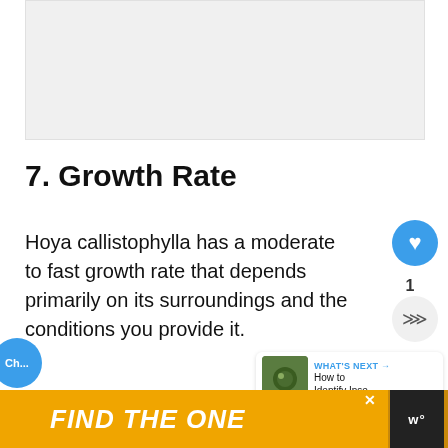[Figure (photo): Gray placeholder image area at top of page]
7. Growth Rate
Hoya callistophylla has a moderate to fast growth rate that depends primarily on its surroundings and the conditions you provide it.
If requirements and the environment is
[Figure (other): Website UI overlay: heart/like button showing count 1, share button, and 'What's Next' widget showing 'How to Identify Inse...']
[Figure (other): Advertisement banner: 'FIND THE ONE' with dog image on yellow/orange background]